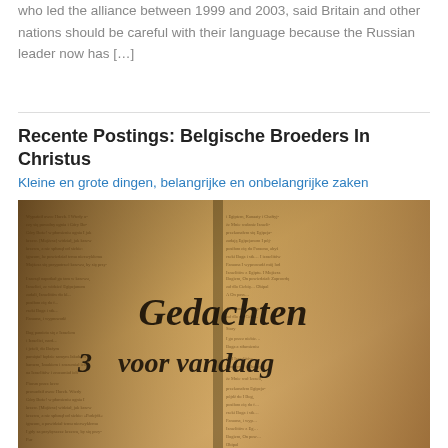who led the alliance between 1999 and 2003, said Britain and other nations should be careful with their language because the Russian leader now has […]
Recente Postings: Belgische Broeders In Christus
Kleine en grote dingen, belangrijke en onbelangrijke zaken
[Figure (photo): Close-up photograph of an open Bible or religious book with Dutch text overlay reading 'Gedachten voor vandaag' (Thoughts for today) with the number 3, styled in decorative script on a warm sepia-toned book page with printed text visible in the background.]